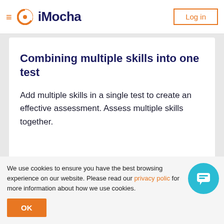iMocha — Log in
Combining multiple skills into one test
Add multiple skills in a single test to create an effective assessment. Assess multiple skills together.
[Figure (other): Partial view of a second card showing an orange rounded rectangle outline]
We use cookies to ensure you have the best browsing experience on our website. Please read our privacy policy for more information about how we use cookies.
OK